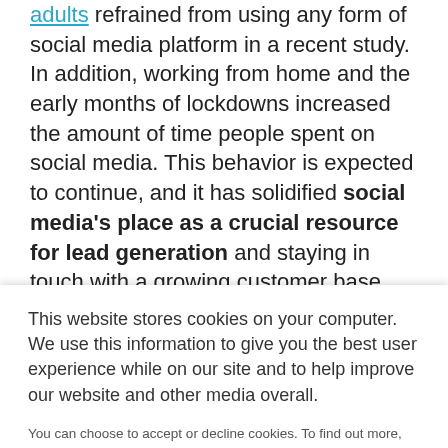adults refrained from using any form of social media platform in a recent study. In addition, working from home and the early months of lockdowns increased the amount of time people spent on social media. This behavior is expected to continue, and it has solidified social media's place as a crucial resource for lead generation and staying in touch with a growing customer base. Considering...
This website stores cookies on your computer. We use this information to give you the best user experience while on our site and to help improve our website and other media overall.
You can choose to accept or decline cookies. To find out more, please see our privacy policy.
Accept
Decline